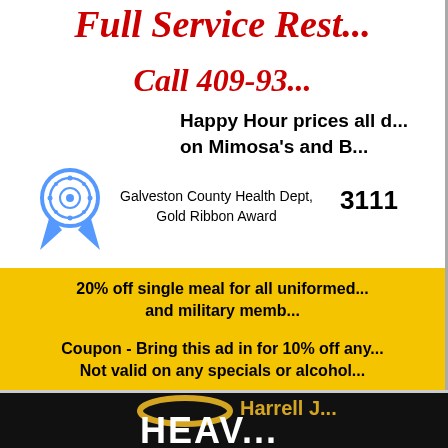Full Service Rest...
Call 409-93...
Happy Hour prices all d... on Mimosa's and B...
[Figure (illustration): Blue ribbon award icon]
Galveston County Health Dept, Gold Ribbon Award
3111
20% off single meal for all uniformed... and military memb...
Coupon - Bring this ad in for 10% off any... Not valid on any specials or alcohol...
[Figure (logo): Harrell J... Heavenly Body... logo on black background with gold halo]